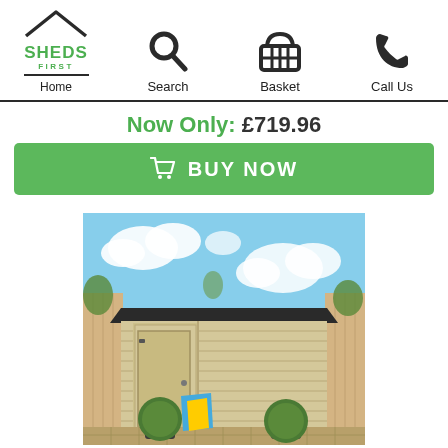Sheds First - Home | Search | Basket | Call Us
Now Only: £719.96
BUY NOW
[Figure (photo): A large wooden garden shed with a dark apex roof, a door on the left side, horizontal timber cladding, two round topiary bushes in black pots in front, a decorative cushion bag leaning against the shed, set against a blue sky with white clouds and wooden fence background.]